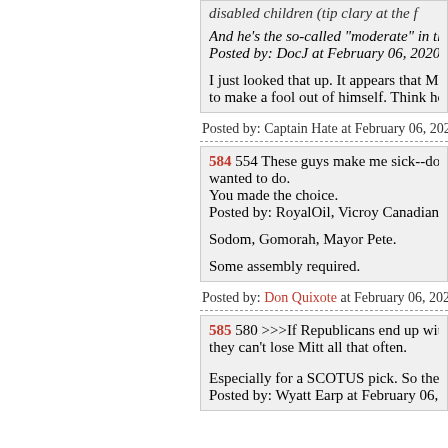...disabled children (tip clary at the f...
And he's the so-called "moderate" in the r...
Posted by: DocJ at February 06, 2020 02...
I just looked that up. It appears that Mega...
to make a fool out of himself. Think how I...
Posted by: Captain Hate at February 06, 2020 02...
584 554 These guys make me sick--don't k... wanted to do.
You made the choice.
Posted by: RoyalOil, Vicroy Canadian Te...
Sodom, Gomorah, Mayor Pete.
Some assembly required.
Posted by: Don Quixote at February 06, 2020 02...
585 580 >>>If Republicans end up with a... they can't lose Mitt all that often.
Especially for a SCOTUS pick. So the GO...
Posted by: Wyatt Earp at February 06, 202...